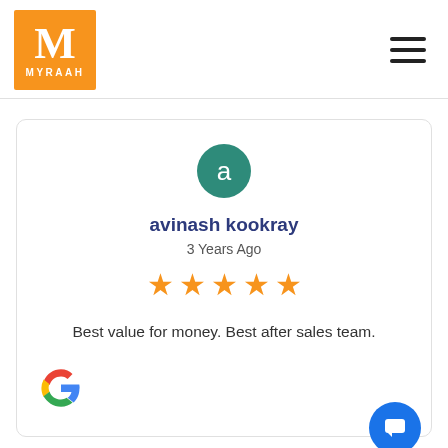[Figure (logo): Myraah logo: orange square with white letter M and MYRAAH text below]
[Figure (other): Hamburger menu icon (three horizontal lines)]
[Figure (other): Circular teal avatar with lowercase letter 'a']
avinash kookray
3 Years Ago
[Figure (other): Five orange star rating]
Best value for money. Best after sales team.
[Figure (logo): Google 'G' logo in multicolor]
[Figure (other): Blue circular chat/message button in bottom right corner]